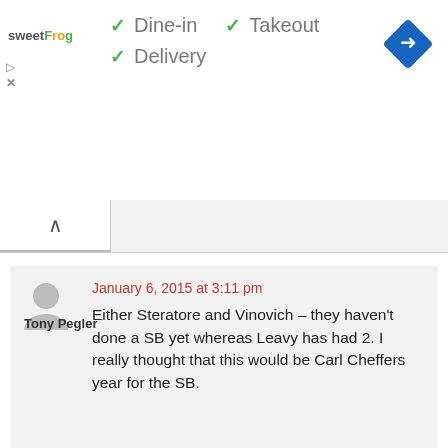[Figure (screenshot): sweetFrog logo advertisement with Dine-in, Takeout, Delivery checkmarks and a map direction icon]
✓ Dine-in  ✓ Takeout
✓ Delivery
January 6, 2015 at 3:11 pm
Tony Pegler
Either Steratore and Vinovich – they haven't done a SB yet whereas Leavy has had 2. I really thought that this would be Carl Cheffers year for the SB.
January 6, 2015 at 3:31 pm
Dale Tillotson
It happened once Tunney bac back and Mcauley is probably